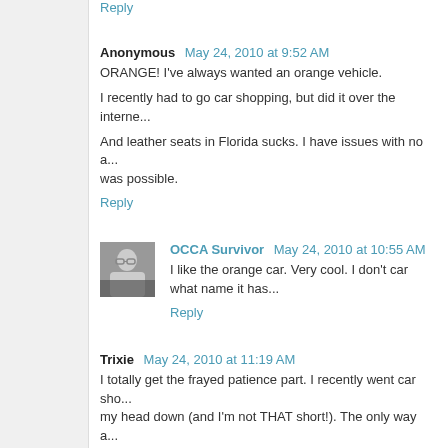Reply
Anonymous  May 24, 2010 at 9:52 AM
ORANGE! I've always wanted an orange vehicle.
I recently had to go car shopping, but did it over the interne...
And leather seats in Florida sucks. I have issues with no a... was possible.
Reply
[Figure (photo): Avatar photo of OCCA Survivor, a person with glasses]
OCCA Survivor  May 24, 2010 at 10:55 AM
I like the orange car. Very cool. I don't car what name it has...
Reply
Trixie  May 24, 2010 at 11:19 AM
I totally get the frayed patience part. I recently went car sho... my head down (and I'm not THAT short!). The only way a... salesmen (6 ft tall) either looked confused when I expla... suggested just removing the headrest. Why let a little thing...
Reply